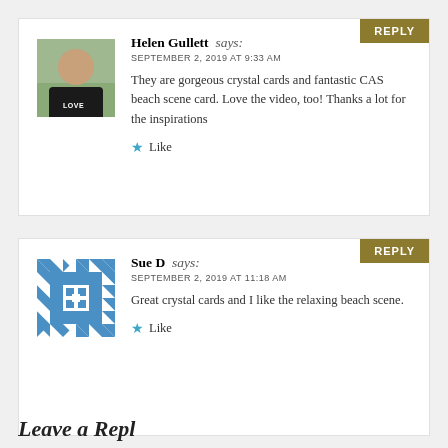[Figure (photo): Avatar photo of Helen Gullett, a woman in a black shirt with 'LOVE' text, outdoor background]
Helen Gullett says:
SEPTEMBER 2, 2019 AT 9:33 AM
They are gorgeous crystal cards and fantastic CAS beach scene card. Love the video, too! Thanks a lot for the inspirations
Like
[Figure (illustration): Avatar icon for Sue D — a geometric quilt-pattern square in blue and white]
Sue D says:
SEPTEMBER 2, 2019 AT 11:18 AM
Great crystal cards and I like the relaxing beach scene.
Like
Leave a Reply